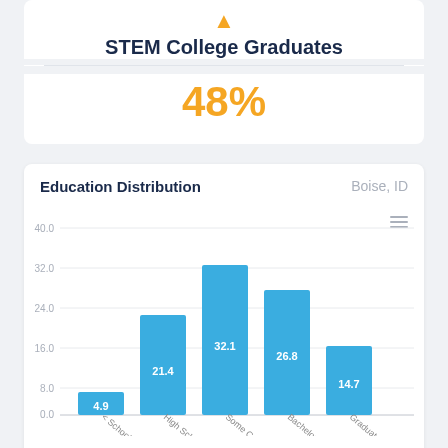STEM College Graduates
48%
Education Distribution
Boise, ID
[Figure (bar-chart): Education Distribution]